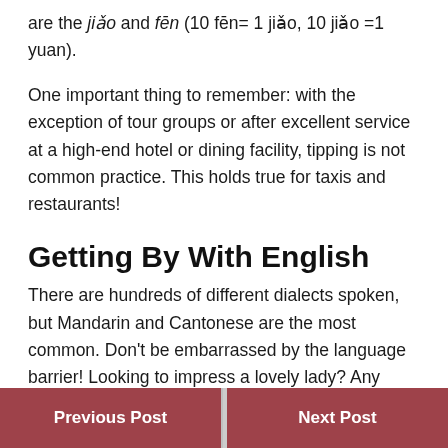are the jiǎo and fēn (10 fēn= 1 jiǎo, 10 jiǎo =1 yuan).
One important thing to remember: with the exception of tour groups or after excellent service at a high-end hotel or dining facility, tipping is not common practice. This holds true for taxis and restaurants!
Getting By With English
There are hundreds of different dialects spoken, but Mandarin and Cantonese are the most common. Don't be embarrassed by the language barrier! Looking to impress a lovely lady? Any effort that you make will be greatly appreciated, even if it is just an
Previous Post    Next Post